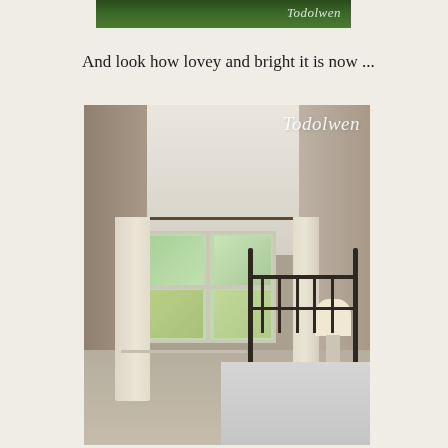[Figure (photo): Top portion of a photo showing green foliage/garden, with 'Todolwen' watermark in italic script at top right]
And look how lovey and bright it is now ...
[Figure (photo): Interior bedroom photo showing a bright room with large triple window, light curtains on a curtain rod, beige/taupe walls, carpeted floor, a table lamp, and a black iron bed frame in the right corner. 'Todolwen' watermark in italic white script at top right of photo.]